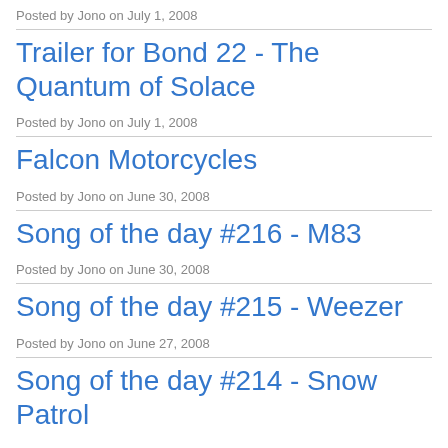Posted by Jono on July 1, 2008
Trailer for Bond 22 - The Quantum of Solace
Posted by Jono on July 1, 2008
Falcon Motorcycles
Posted by Jono on June 30, 2008
Song of the day #216 - M83
Posted by Jono on June 30, 2008
Song of the day #215 - Weezer
Posted by Jono on June 27, 2008
Song of the day #214 - Snow Patrol